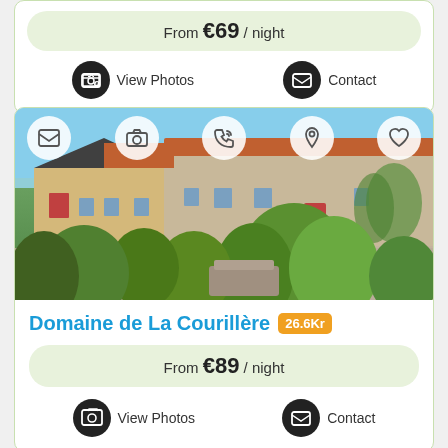From €69 / night
View Photos
Contact
[Figure (photo): Exterior photo of Domaine de La Courillère: stone farmhouse buildings with red tiled roof, lush green garden shrubs, driveway, blue sky. Overlay icons: email, camera, phone, location pin, heart.]
Domaine de La Courillère 26.6Kr
From €89 / night
View Photos
Contact